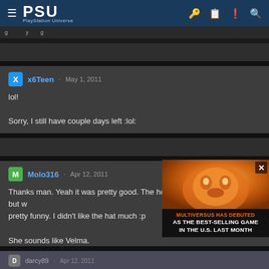PSU - PlayStation Universe
x6Teen · May 1, 2011
lol!
Sorry, I still have couple days left :lol:
Molo316 · Apr 12, 2011
Thanks man. Yeah it was pretty good. The host seemed drunk, but was pretty funny. I didn't like the hat much :p
She sounds like Velma.
[Figure (screenshot): Advertisement overlay: MULTIVERSUS HAS DEBUTED AS THE BEST-SELLING GAME IN THE U.S. LAST MONTH]
darcy89 · Apr 12, 2011
After having the same ov + ol combo...